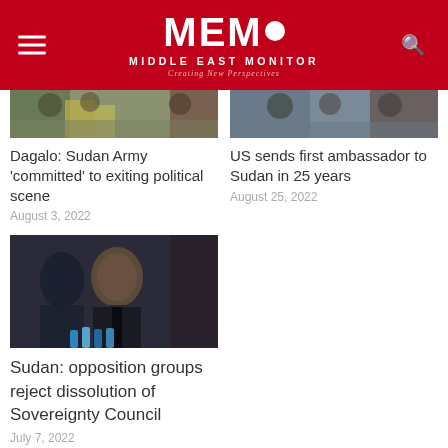MEMO MIDDLE EAST MONITOR - Creating New Perspectives
[Figure (photo): News article thumbnail image - crowd with flags]
Dagalo: Sudan Army 'committed' to exiting political scene
August 3, 2022
[Figure (photo): News article thumbnail image - crowd gathered]
US sends first ambassador to Sudan in 25 years
August 25, 2022
[Figure (photo): Man in suit speaking at press conference with microphones]
Sudan: opposition groups reject dissolution of Sovereignty Council
July 7, 2022